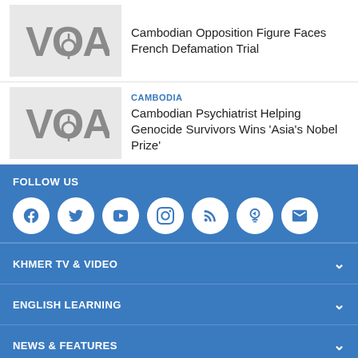[Figure (logo): VOA logo thumbnail placeholder]
Cambodian Opposition Figure Faces French Defamation Trial
[Figure (logo): VOA logo thumbnail placeholder]
CAMBODIA
Cambodian Psychiatrist Helping Genocide Survivors Wins 'Asia's Nobel Prize'
FOLLOW US
[Figure (infographic): Row of social media icons: Facebook, Twitter, YouTube, Instagram, RSS, Podcast, Email]
KHMER TV & VIDEO
ENGLISH LEARNING
NEWS & FEATURES